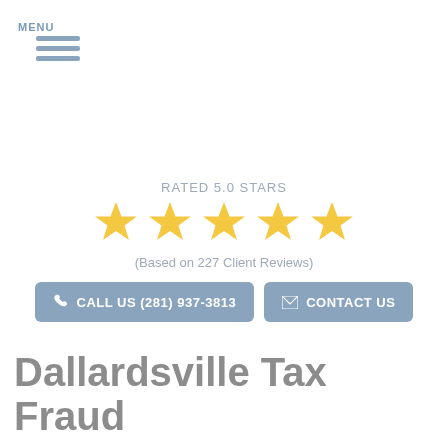[Figure (other): Hamburger menu icon with three horizontal blue-grey lines and MENU label below]
RATED 5.0 STARS
[Figure (other): Five gold/yellow star icons representing a 5-star rating]
(Based on 227 Client Reviews)
[Figure (other): Two blue-grey buttons: 'CALL US (281) 937-3813' with phone icon and 'CONTACT US' with envelope icon]
Dallardsville Tax Fraud